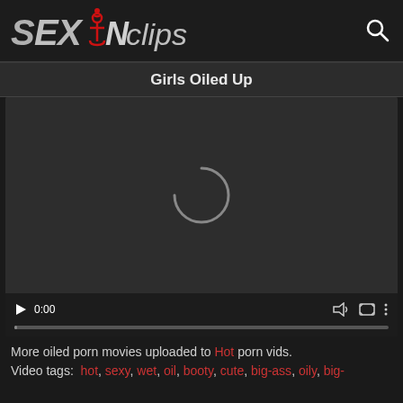[Figure (logo): SExNclips website logo with anchor icon in red]
Girls Oiled Up
[Figure (screenshot): Video player showing a loading spinner, with controls bar showing play button, 0:00 timestamp, volume, fullscreen and more options icons, and a progress bar at bottom]
More oiled porn movies uploaded to Hot porn vids.
Video tags: hot, sexy, wet, oil, booty, cute, big-ass, oily, big-